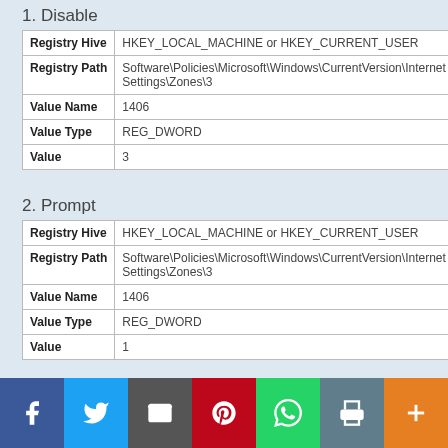1. Disable
| Registry Hive | HKEY_LOCAL_MACHINE or HKEY_CURRENT_USER |
| Registry Path | Software\Policies\Microsoft\Windows\CurrentVersion\Internet Settings\Zones\3 |
| Value Name | 1406 |
| Value Type | REG_DWORD |
| Value | 3 |
2. Prompt
| Registry Hive | HKEY_LOCAL_MACHINE or HKEY_CURRENT_USER |
| Registry Path | Software\Policies\Microsoft\Windows\CurrentVersion\Internet Settings\Zones\3 |
| Value Name | 1406 |
| Value Type | REG_DWORD |
| Value | 1 |